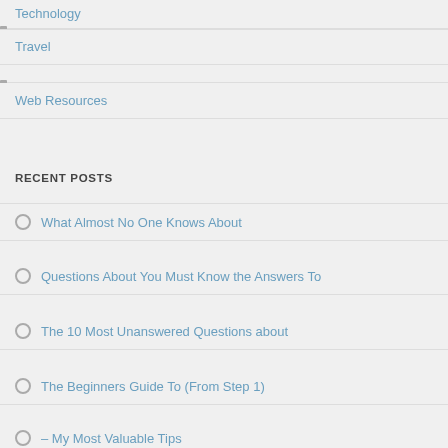Technology
Travel
Web Resources
RECENT POSTS
What Almost No One Knows About
Questions About You Must Know the Answers To
The 10 Most Unanswered Questions about
The Beginners Guide To (From Step 1)
– My Most Valuable Tips